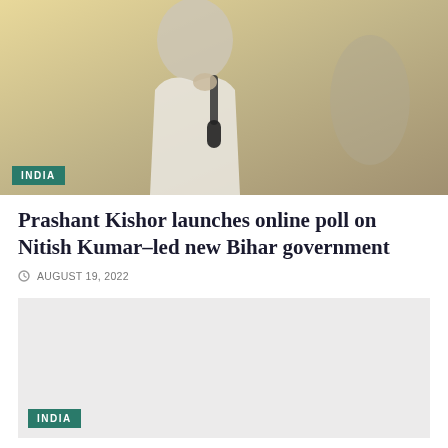[Figure (photo): Person in white clothes holding a microphone, speaking at an event, with a yellow/orange background]
INDIA
Prashant Kishor launches online poll on Nitish Kumar-led new Bihar government
AUGUST 19, 2022
[Figure (photo): Second article image, light gray placeholder]
INDIA
JD(U) for Nitish as PM if Oppo wants